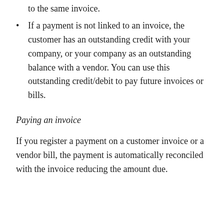to the same invoice.
If a payment is not linked to an invoice, the customer has an outstanding credit with your company, or your company as an outstanding balance with a vendor. You can use this outstanding credit/debit to pay future invoices or bills.
Paying an invoice
If you register a payment on a customer invoice or a vendor bill, the payment is automatically reconciled with the invoice reducing the amount due.